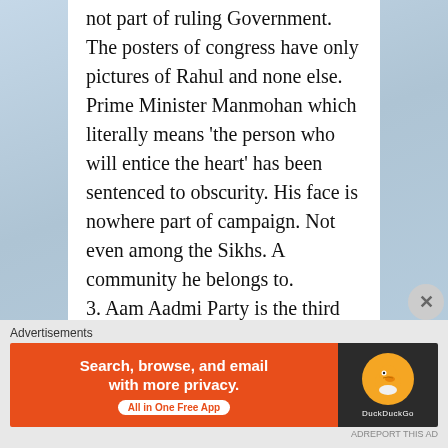not part of ruling Government. The posters of congress have only pictures of Rahul and none else. Prime Minister Manmohan which literally means ‘the person who will entice the heart’ has been sentenced to obscurity. His face is nowhere part of campaign. Not even among the Sikhs. A community he belongs to.
3. Aam Aadmi Party is the third and a new entrant. Like both the above
Advertisements
[Figure (other): DuckDuckGo advertisement banner: orange left panel with text 'Search, browse, and email with more privacy. All in One Free App' and dark right panel with DuckDuckGo duck logo]